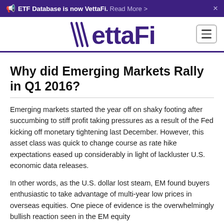ETF Database is now VettaFi. Read More >
[Figure (logo): VettaFi logo with stylized V and purple text, and hamburger menu button]
Why did Emerging Markets Rally in Q1 2016?
Emerging markets started the year off on shaky footing after succumbing to stiff profit taking pressures as a result of the Fed kicking off monetary tightening last December. However, this asset class was quick to change course as rate hike expectations eased up considerably in light of lackluster U.S. economic data releases.
In other words, as the U.S. dollar lost steam, EM found buyers enthusiastic to take advantage of multi-year low prices in overseas equities. One piece of evidence is the overwhelmingly bullish reaction seen in the EM equity